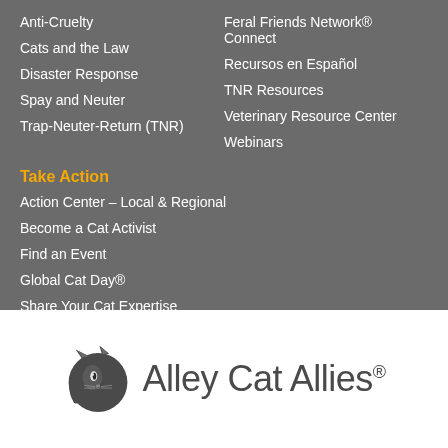Anti-Cruelty
Feral Friends Network® Connect
Cats and the Law
Recursos en Español
Disaster Response
TNR Resources
Spay and Neuter
Veterinary Resource Center
Trap-Neuter-Return (TNR)
Webinars
Take Action
Action Center – Local & Regional
Become a Cat Activist
Find an Event
Global Cat Day®
Share Your Cat Expertise
Stand Against Animal Cruelty!
[Figure (logo): Alley Cat Allies logo with stylized cat silhouette and text]